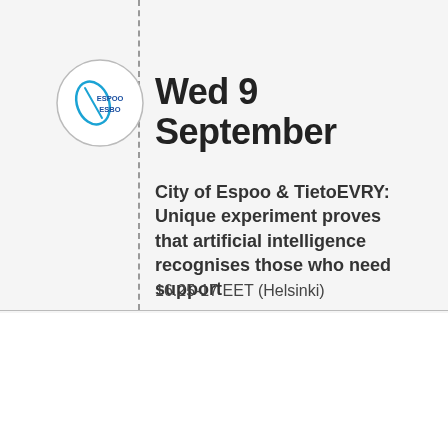[Figure (logo): Espoo Esbo city logo in a circle — blue stylized leaf/oval icon with 'ESPOO ESBO' text in blue]
Wed 9 September
City of Espoo & TietoEVRY: Unique experiment proves that artificial intelligence recognises those who need support
16.25-17 EET (Helsinki)
We use cookies to give you the best experience on our website.
Find out more and set your preferences settings.
ACCEPT
SETTINGS